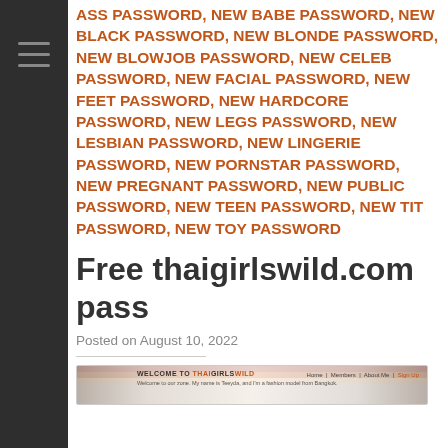ASS PASSWORD, NEW BABE PASSWORD, NEW BLACK PASSWORD, NEW BLONDE PASSWORD, NEW BLOWJOB PASSWORD, NEW CELEB PASSWORD, NEW FACIAL PASSWORD, NEW FEET PASSWORD, NEW HARDCORE PASSWORD, NEW LEGS PASSWORD, NEW LESBIAN PASSWORD, NEW LINGERIE PASSWORD, NEW PORNSTAR PASSWORD, NEW PREGNANT PASSWORD, NEW PUBLIC PASSWORD, NEW TEEN PASSWORD, NEW TIT PASSWORD, NEW TOY PASSWORD
Free thaigirlswild.com pass
Posted on August 10, 2022
[Figure (screenshot): Thumbnail screenshot of thaigirlswild.com website header showing welcome text and navigation links]